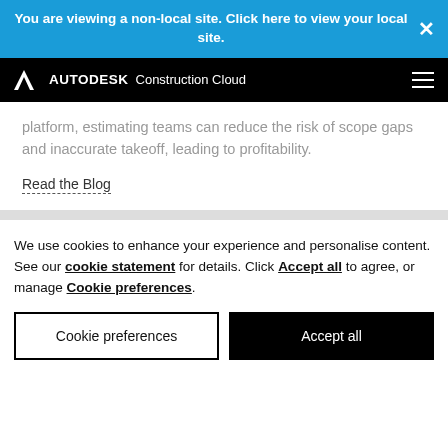You are viewing a non-local site. Click here to view your local site.
[Figure (logo): Autodesk Construction Cloud logo in white on black navigation bar]
platform, estimating teams can reduce the risk of scope gaps and inaccurate takeoff, leading to profitability.
Read the Blog
We use cookies to enhance your experience and personalise content. See our cookie statement for details. Click Accept all to agree, or manage Cookie preferences.
Cookie preferences
Accept all